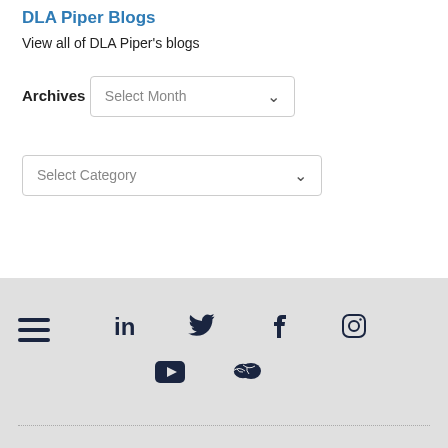DLA Piper Blogs
View all of DLA Piper's blogs
Archives
[Figure (screenshot): Select Month dropdown UI element]
[Figure (screenshot): Select Category dropdown UI element]
[Figure (infographic): Footer with hamburger menu icon and social media icons: LinkedIn, Twitter, Facebook, Instagram, YouTube, WeChat]